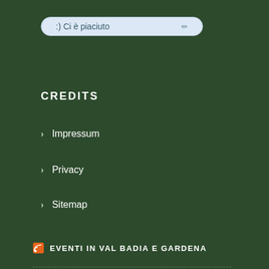:) Ci è piaciuto
CREDITS
> Impressum
> Privacy
> Sitemap
EVENTI IN VAL BADIA E GARDENA
Book now at Hotel Borest
Book now at Residence Riposo